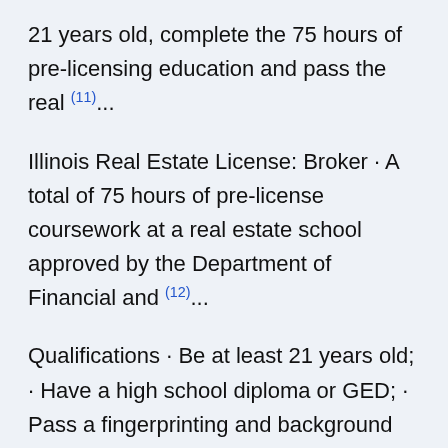21 years old, complete the 75 hours of pre-licensing education and pass the real (11)...
Illinois Real Estate License: Broker · A total of 75 hours of pre-license coursework at a real estate school approved by the Department of Financial and (12)...
Qualifications · Be at least 21 years old; · Have a high school diploma or GED; · Pass a fingerprinting and background check; · Meet Illinois'